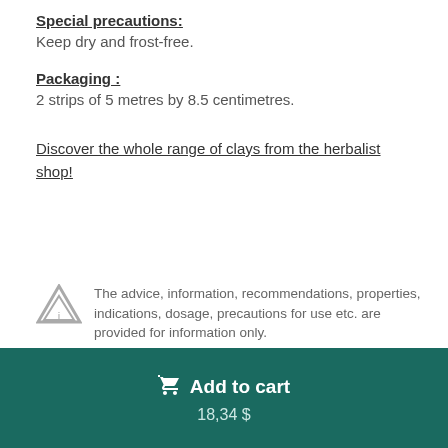Special precautions:
Keep dry and frost-free.
Packaging :
2 strips of 5 metres by 8.5 centimetres.
Discover the whole range of clays from the herbalist shop!
The advice, information, recommendations, properties, indications, dosage, precautions for use etc. are provided for information only.
Add to cart
18,34 $